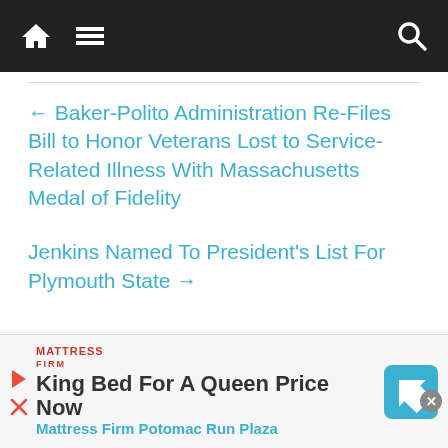Navigation bar with home, menu, and search icons
← Baker-Polito Administration Re-Files Bill to Honor Veterans Lost to Service-Related Illness With Massachusetts Medal of Fidelity
Jenkins Named To President's List For Plymouth State →
editor
King Bed For A Queen Price Now
Mattress Firm Potomac Run Plaza